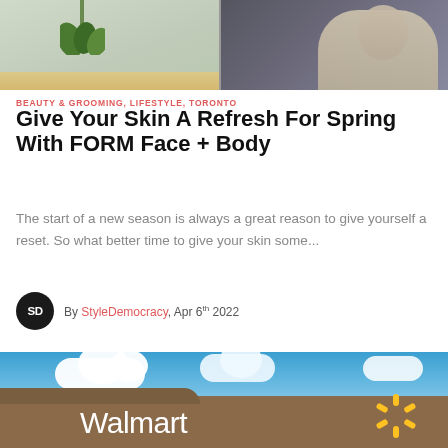[Figure (photo): Split image: left side shows an indoor space with hanging green plant and light wood floor; right side shows a person seated in a light-colored chair]
BEAUTY & GROOMING, LIFESTYLE, TORONTO
Give Your Skin A Refresh For Spring With FORM Face + Body
The start of a new season is always a great reason to give yourself a reset. So what better time to give your skin some...
By StyleDemocracy, Apr 6th 2022
[Figure (photo): Walmart store exterior showing sign with Walmart logo and spark symbol against a blue sky with clouds]